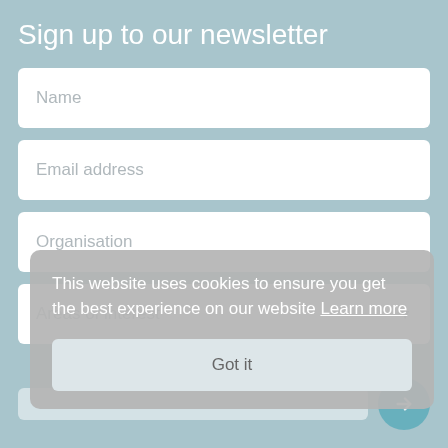Sign up to our newsletter
Name
Email address
Organisation
Areas of interest
This website uses cookies to ensure you get the best experience on our website Learn more
Got it